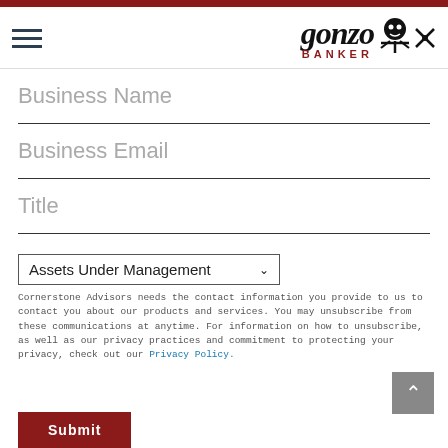Gonzo Banker
Business Name
Business Email
Title
Assets Under Management
Cornerstone Advisors needs the contact information you provide to us to contact you about our products and services. You may unsubscribe from these communications at anytime. For information on how to unsubscribe, as well as our privacy practices and commitment to protecting your privacy, check out our Privacy Policy.
Submit